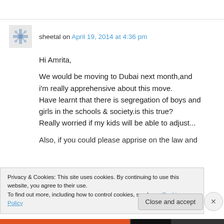sheetal on April 19, 2014 at 4:36 pm
Hi Amrita,

We would be moving to Dubai next month,and i'm really apprehensive about this move. Have learnt that there is segregation of boys and girls in the schools & society.is this true? Really worried if my kids will be able to adjust...

Also, if you could please apprise on the law and
Privacy & Cookies: This site uses cookies. By continuing to use this website, you agree to their use.
To find out more, including how to control cookies, see here: Cookie Policy